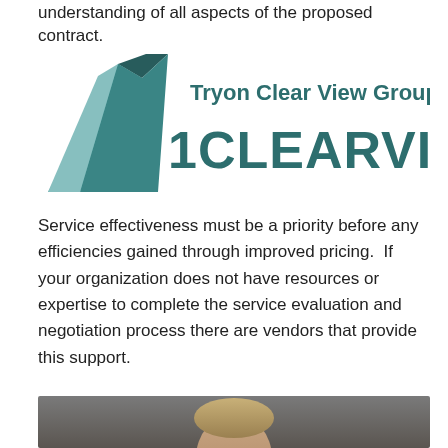understanding of all aspects of the proposed contract.
[Figure (logo): Tryon Clear View Group / 1CLEARVIEW company logo with teal geometric mountain/chevron shape on the left and bold teal text on the right reading 'Tryon Clear View Group' above '1CLEARVIEW']
Service effectiveness must be a priority before any efficiencies gained through improved pricing.  If your organization does not have resources or expertise to complete the service evaluation and negotiation process there are vendors that provide this support.
[Figure (photo): Partial photo showing the top of a person's head with light brown/blonde hair against a grey background]